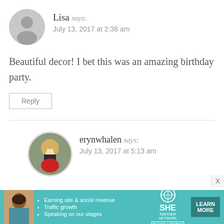[Figure (illustration): Gray circular avatar placeholder with silhouette of a person, representing user Lisa]
Lisa says: July 13, 2017 at 2:38 am
Beautiful decor! I bet this was an amazing birthday party.
Reply
[Figure (photo): Circular photo of erynwhalen, a woman with blonde hair wearing a dark top and red skirt, outdoors]
erynwhalen says: July 13, 2017 at 5:13 am
[Figure (infographic): SHE Partner Network advertisement banner in teal: Earning site & social revenue, Traffic growth, Speaking on our stages. LEARN MORE button.]